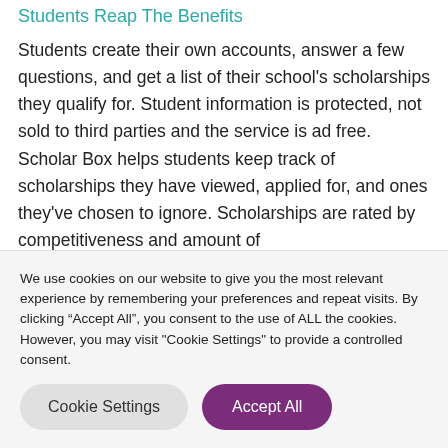Students Reap The Benefits
Students create their own accounts, answer a few questions, and get a list of their school's scholarships they qualify for. Student information is protected, not sold to third parties and the service is ad free. Scholar Box helps students keep track of scholarships they have viewed, applied for, and ones they've chosen to ignore. Scholarships are rated by competitiveness and amount of
We use cookies on our website to give you the most relevant experience by remembering your preferences and repeat visits. By clicking “Accept All”, you consent to the use of ALL the cookies. However, you may visit "Cookie Settings" to provide a controlled consent.
Cookie Settings   Accept All